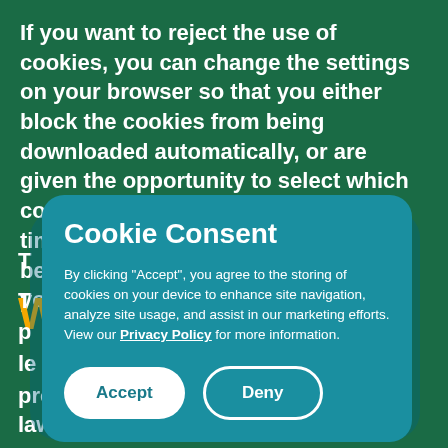If you want to reject the use of cookies, you can change the settings on your browser so that you either block the cookies from being downloaded automatically, or are given the opportunity to select which cookies are downloaded, one at a time. Cookies that have previously been downloaded to you... ...er.
T...
W...
T... p... le... process information in accordance to law...
[Figure (screenshot): Cookie Consent modal dialog with teal/dark cyan background, rounded corners. Contains title 'Cookie Consent', body text 'By clicking "Accept", you agree to the storing of cookies on your device to enhance site navigation, analyze site usage, and assist in our marketing efforts. View our Privacy Policy for more information.', and two buttons: filled white 'Accept' button and outlined white 'Deny' button.]